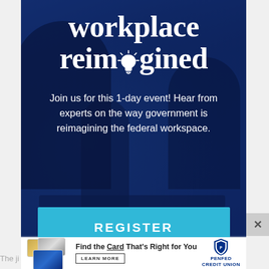[Figure (illustration): Advertisement banner for 'Workplace Reimagined' event on a dark blue background with blurred office worker silhouettes. Contains large white serif title text 'workplace reimagined' with a lightbulb icon replacing the 'i' in reimagined, descriptive text about a 1-day government event, and a teal REGISTER button.]
Join us for this 1-day event! Hear from experts on the way government is reimagining the federal workspace.
REGISTER
[Figure (illustration): PenFed Credit Union advertisement banner showing credit cards and text 'Find the Card That’s Right for You' with a LEARN MORE button and PenFed Credit Union logo.]
Find the Card That’s Right for You
LEARN MORE
The ji